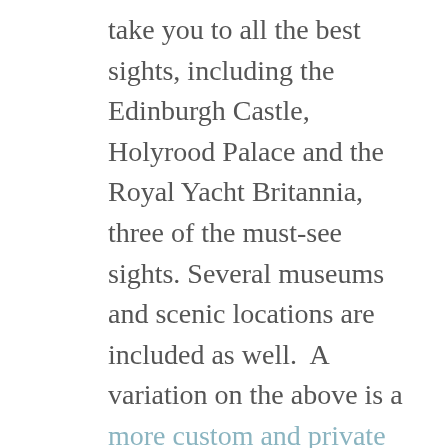take you to all the best sights, including the Edinburgh Castle, Holyrood Palace and the Royal Yacht Britannia, three of the must-see sights. Several museums and scenic locations are included as well.  A variation on the above is a more custom and private tour that will take you in luxury to all the important places.
If you have more time, you can even go beyond Edinburgh, taking day trips out to other scenic spots in Scotland.  Stirling Castle, Loch Lomond, the Highlands, Loch Ness, St. Andrews, and the Distillery tours are interesting spots.
As to lodging, there is something for every